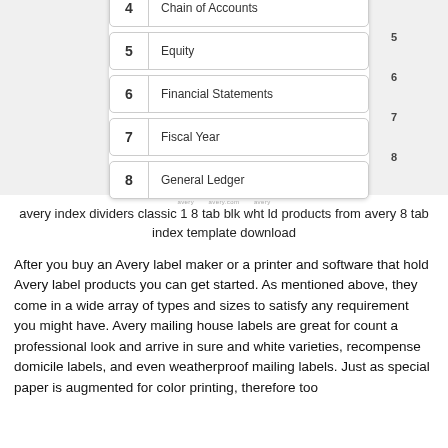[Figure (illustration): Image of Avery index divider tabs numbered 4 through 8, showing entries: 4 Chain of Accounts, 5 Equity, 6 Financial Statements, 7 Fiscal Year, 8 General Ledger. Each tab has a number on the left and a label on the right, with matching tab numbers on the right side.]
avery index dividers classic 1 8 tab blk wht ld products from avery 8 tab index template download
After you buy an Avery label maker or a printer and software that hold Avery label products you can get started. As mentioned above, they come in a wide array of types and sizes to satisfy any requirement you might have. Avery mailing house labels are great for count a professional look and arrive in sure and white varieties, recompense domicile labels, and even weatherproof mailing labels. Just as special paper is augmented for color printing, therefore too